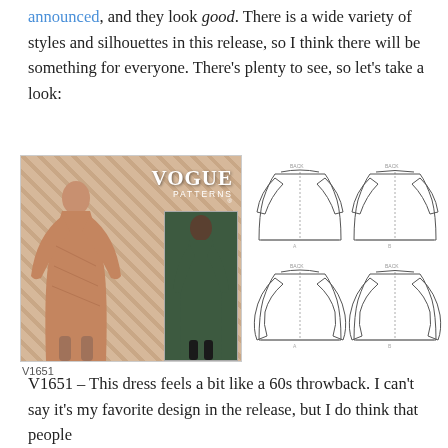announced, and they look good. There is a wide variety of styles and silhouettes in this release, so I think there will be something for everyone. There's plenty to see, so let's take a look:
[Figure (photo): Vogue Patterns envelope image showing two models wearing dress V1651 – one in a patterned fabric with bell sleeves, one in dark green fabric. Caption reads V1651.]
[Figure (illustration): Four sewing pattern schematic line drawings of the V1651 dress showing front and back views of two views – a straight sleeve version and a bell/flared sleeve version.]
V1651
V1651 – This dress feels a bit like a 60s throwback. I can't say it's my favorite design in the release, but I do think that people